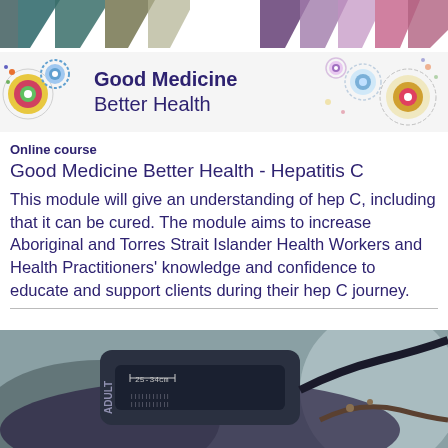[Figure (illustration): Top decorative bar with colorful geometric triangle/diamond shapes in teal, olive, purple, pink, and gray on white background]
LOG IN
[Figure (logo): Good Medicine Better Health banner logo with circular Aboriginal dot art motifs in multicolors, text 'Good Medicine Better Health' in dark purple]
Online course
Good Medicine Better Health - Hepatitis C
This module will give an understanding of hep C, including that it can be cured. The module aims to increase Aboriginal and Torres Strait Islander Health Workers and Health Practitioners' knowledge and confidence to educate and support clients during their hep C journey.
[Figure (photo): Close-up photo of a blood pressure cuff/sphygmomanometer device, labeled 'ADULT' with measurement markings visible, held near a person]